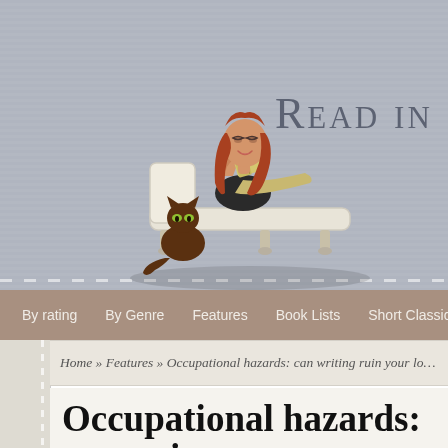Read in…
[Figure (illustration): Cartoon illustration of a woman with red hair in a black dress, reclining on a white chaise lounge reading a book, with a brown cat sitting beside her]
By rating | By Genre | Features | Book Lists | Short Classics
Home » Features » Occupational hazards: can writing ruin your lo…
Occupational hazards: can wri…